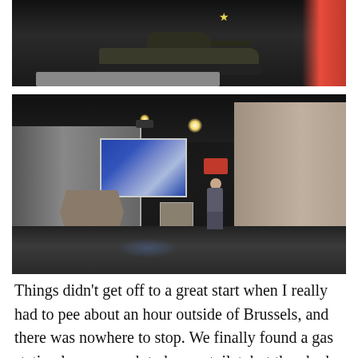[Figure (photo): A military tank on a pedestal in a museum exhibition hall, with a red wall in the background]
[Figure (photo): Interior of a war museum with a large projection screen showing archival footage, hexagonal display stands, a visitor looking at wall-mounted exhibit panels, spotlights on the ceiling, and a reflective floor]
Things didn't get off to a great start when I really had to pee about an hour outside of Brussels, and there was nowhere to stop. We finally found a gas station large enough to have a toilet, but they had a sign on the door stating it was 50 cents to use the bathroom for non-